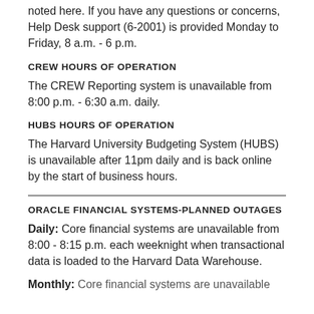noted here. If you have any questions or concerns, Help Desk support (6-2001) is provided Monday to Friday, 8 a.m. - 6 p.m.
CREW HOURS OF OPERATION
The CREW Reporting system is unavailable from 8:00 p.m. - 6:30 a.m. daily.
HUBS HOURS OF OPERATION
The Harvard University Budgeting System (HUBS) is unavailable after 11pm daily and is back online by the start of business hours.
ORACLE FINANCIAL SYSTEMS-PLANNED OUTAGES
Daily: Core financial systems are unavailable from 8:00 - 8:15 p.m. each weeknight when transactional data is loaded to the Harvard Data Warehouse.
Monthly: Partial text visible at bottom of page.